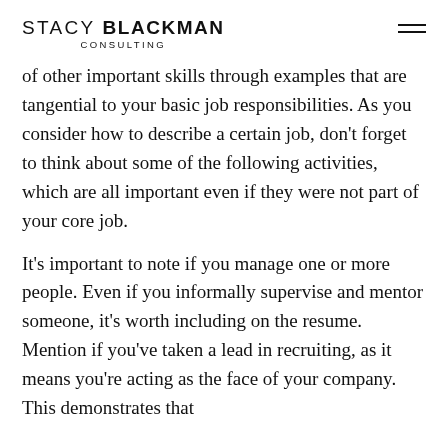STACY BLACKMAN CONSULTING
of other important skills through examples that are tangential to your basic job responsibilities. As you consider how to describe a certain job, don't forget to think about some of the following activities, which are all important even if they were not part of your core job.
It's important to note if you manage one or more people. Even if you informally supervise and mentor someone, it's worth including on the resume. Mention if you've taken a lead in recruiting, as it means you're acting as the face of your company. This demonstrates that